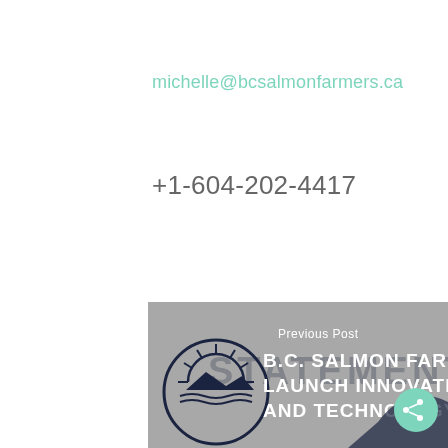michelle@bcsalmonfarmers.ca
+1-604-202-4417
[Figure (other): Banner image with BC Salmon Farmers logo on left, text overlay reading 'Previous Post' and 'B.C. SALMON FARMERS LAUNCH INNOVATION AND TECHNOLOGY', with a teal share button on the right side. Gray background with a dark silhouette/wave shape at lower right.]